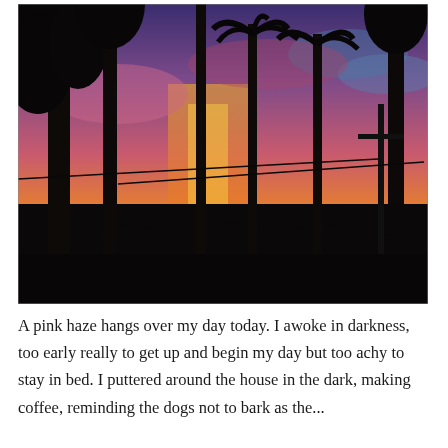[Figure (photo): A dramatic sunset or sunrise photo showing silhouettes of tall trees (pine and palm trees) and a utility pole against a vivid sky with pink, orange, yellow, and purple hues. The foreground is nearly entirely black silhouette.]
A pink haze hangs over my day today. I awoke in darkness, too early really to get up and begin my day but too achy to stay in bed. I puttered around the house in the dark, making coffee, reminding the dogs not to bark as the...